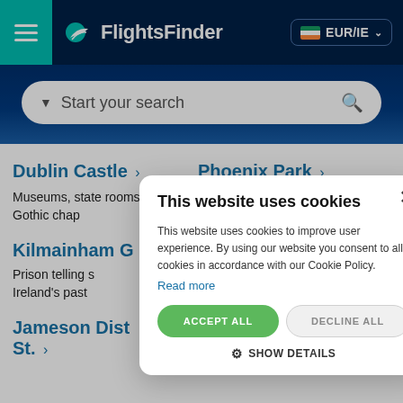FlightsFinder — EUR/IE
Start your search
Dublin Castle >
Phoenix Park >
Museums, state rooms & a Gothic chap
Enormous green space
Kilmainham G
Prison telling s Ireland's past
Jameson Dist St. >
This website uses cookies
This website uses cookies to improve user experience. By using our website you consent to all cookies in accordance with our Cookie Policy.
Read more
ACCEPT ALL
DECLINE ALL
SHOW DETAILS